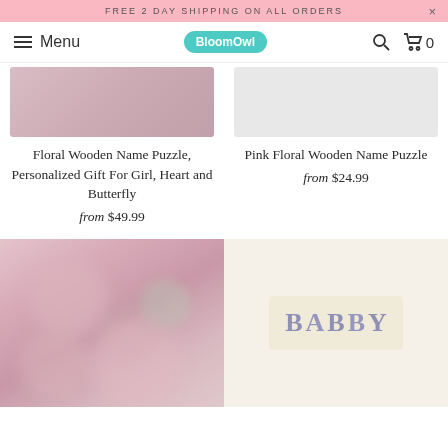FREE 2 DAY SHIPPING ON ALL ORDERS
Menu | BloomOwl | Search | Cart 0
Floral Wooden Name Puzzle, Personalized Gift For Girl, Heart and Butterfly
from $49.99
Pink Floral Wooden Name Puzzle
from $24.99
[Figure (photo): Blurred floral pink wooden name puzzle product photo]
[Figure (photo): Wooden letter tiles spelling BABBY on a cream-colored background]